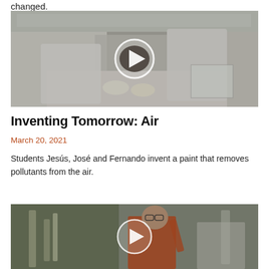changed.
[Figure (photo): Three students in white lab coats working in a laboratory, with a video play button overlay.]
Inventing Tomorrow: Air
March 20, 2021
Students Jesús, José and Fernando invent a paint that removes pollutants from the air.
[Figure (photo): A student in an orange shirt working with laboratory equipment, with a video play button overlay.]